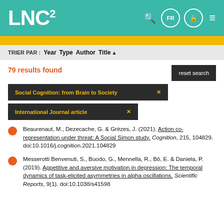LNC²
TRIER PAR : Year Type Author Title ▲
79 results found
reset search
Social Cognition: from Brain to Society ×
International Journal article ×
Beaurenaut, M., Dezecache, G. & Grèzes, J. (2021). Action co-representation under threat: A Social Simon study. Cognition, 215, 104829. doi:10.1016/j.cognition.2021.104829
Messerotti Benvenuti, S., Buodo, G., Mennella, R., Bô, E. & Daniela, P. (2019). Appetitive and aversive motivation in depression: The temporal dynamics of task-elicited asymmetries in alpha oscillations. Scientific Reports, 9(1). doi:10.1038/s41598